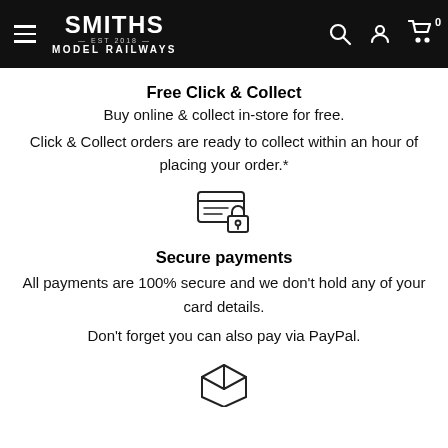Smiths Model Railways
Free Click & Collect
Buy online & collect in-store for free.
Click & Collect orders are ready to collect within an hour of placing your order.*
[Figure (illustration): Secure payment icon: credit card with a padlock]
Secure payments
All payments are 100% secure and we don't hold any of your card details.
Don't forget you can also pay via PayPal.
[Figure (illustration): Parcel/box icon]